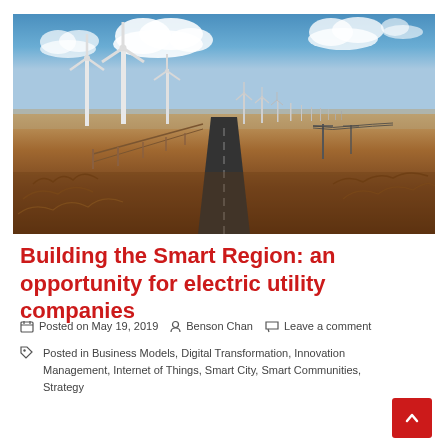[Figure (photo): Wind farm with multiple large white wind turbines along a road stretching into the distance, set against a blue sky with white clouds, surrounded by dry golden-brown grassland.]
Building the Smart Region: an opportunity for electric utility companies
Posted on May 19, 2019   Benson Chan   Leave a comment
Posted in Business Models, Digital Transformation, Innovation Management, Internet of Things, Smart City, Smart Communities, Strategy